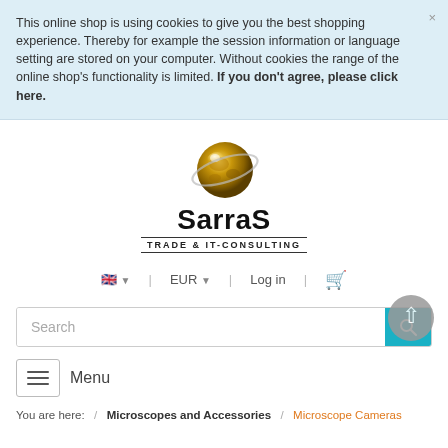This online shop is using cookies to give you the best shopping experience. Thereby for example the session information or language setting are stored on your computer. Without cookies the range of the online shop's functionality is limited. If you don't agree, please click here.
[Figure (logo): SarraS Trade & IT-Consulting logo with golden globe]
🇬🇧 ▾   EUR ▾   Log in   🛒
Search
≡ Menu
You are here: / Microscopes and Accessories / Microscope Cameras